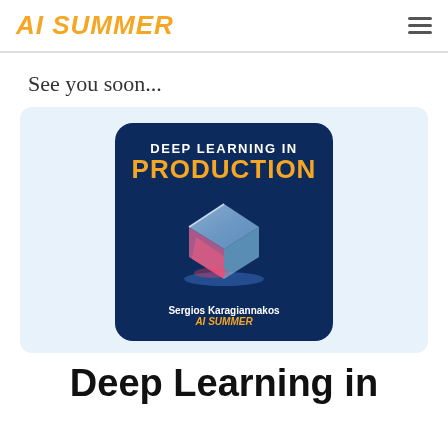AI SUMMER
See you soon...
[Figure (illustration): Book cover for 'Deep Learning in Production' by Sergios Karagiannakos, published by AI SUMMER. Dark blue background with a glowing crystal/glass cube and orange/pink light reflections. Title in white and orange text at top, author name and AI SUMMER branding at bottom.]
Deep Learning in